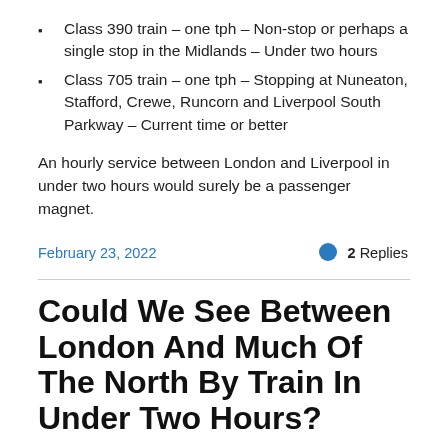Class 390 train – one tph – Non-stop or perhaps a single stop in the Midlands – Under two hours
Class 705 train – one tph – Stopping at Nuneaton, Stafford, Crewe, Runcorn and Liverpool South Parkway – Current time or better
An hourly service between London and Liverpool in under two hours would surely be a passenger magnet.
February 23, 2022
2 Replies
Could We See Between London And Much Of The North By Train In Under Two Hours?